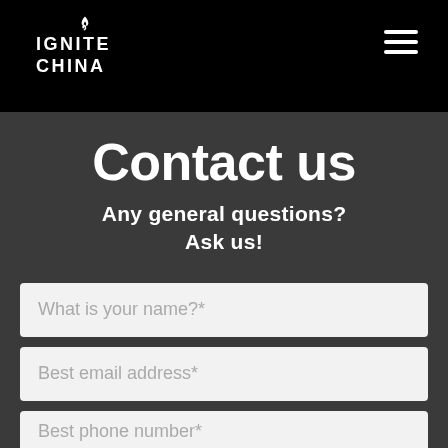IGNITE CHINA
Contact us
Any general questions? Ask us!
What is your name?*
Best email address*
Best phone number*